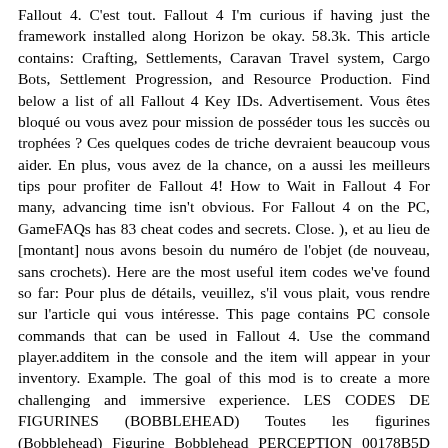Fallout 4. C'est tout. Fallout 4 I'm curious if having just the framework installed along Horizon be okay. 58.3k. This article contains: Crafting, Settlements, Caravan Travel system, Cargo Bots, Settlement Progression, and Resource Production. Find below a list of all Fallout 4 Key IDs. Advertisement. Vous êtes bloqué ou vous avez pour mission de posséder tous les succès ou trophées ? Ces quelques codes de triche devraient beaucoup vous aider. En plus, vous avez de la chance, on a aussi les meilleurs tips pour profiter de Fallout 4! How to Wait in Fallout 4 For many, advancing time isn't obvious. For Fallout 4 on the PC, GameFAQs has 83 cheat codes and secrets. Close. ), et au lieu de [montant] nous avons besoin du numéro de l'objet (de nouveau, sans crochets). Here are the most useful item codes we've found so far: Pour plus de détails, veuillez, s'il vous plait, vous rendre sur l'article qui vous intéresse. This page contains PC console commands that can be used in Fallout 4. Use the command player.additem in the console and the item will appear in your inventory. Example. The goal of this mod is to create a more challenging and immersive experience. LES CODES DE FIGURINES (BOBBLEHEAD) Toutes les figurines (Bobblehead) Figurine Bobblehead PERCEPTION 00178B5D Figurine Bobblehead FORCE 00178b63 Figurine Bobblehead ENDURANCE ; For an overview of Fallout 4 content, please refer to "Fallout 4". Make yourself invincible, teleport anywhere, fight anything. Shipment Item Codes – Fallout 4. Pour les munitions